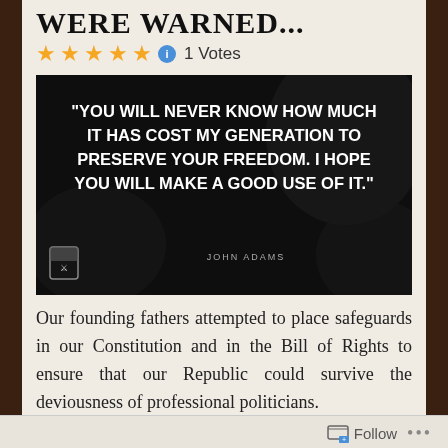WERE WARNED...
★★★★★ ⓘ 1 Votes
[Figure (photo): Dark background image of hands with bold white text quote: "YOU WILL NEVER KNOW HOW MUCH IT HAS COST MY GENERATION TO PRESERVE YOUR FREEDOM. I HOPE YOU WILL MAKE A GOOD USE OF IT." attributed to JOHN ADAMS]
Our founding fathers attempted to place safeguards in our Constitution and in the Bill of Rights to ensure that our Republic could survive the deviousness of professional politicians.
Follow ...